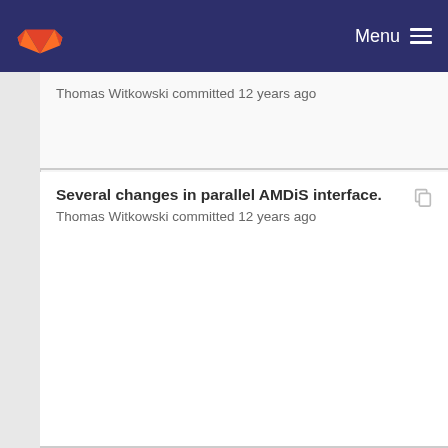Menu
Thomas Witkowski committed 12 years ago
Several changes in parallel AMDiS interface.
Thomas Witkowski committed 12 years ago
3d adaptivity for parallelization.
Thomas Witkowski committed 12 years ago